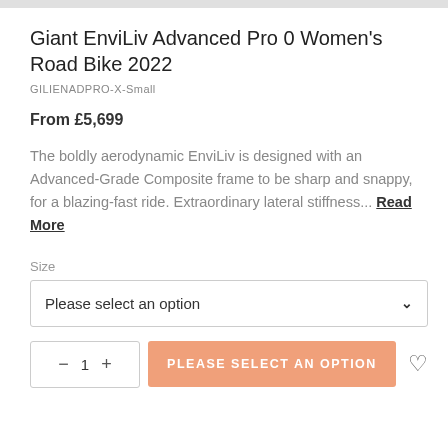Giant EnviLiv Advanced Pro 0 Women's Road Bike 2022
GILIENADPRO-X-Small
From £5,699
The boldly aerodynamic EnviLiv is designed with an Advanced-Grade Composite frame to be sharp and snappy, for a blazing-fast ride. Extraordinary lateral stiffness... Read More
Size
Please select an option
− 1 +
PLEASE SELECT AN OPTION